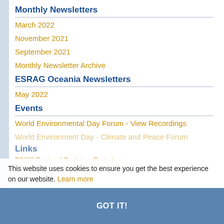Monthly Newsletters
March 2022
November 2021
September 2021
Monthly Newsletter Archive
ESRAG Oceania Newsletters
May 2022
Events
World Environmental Day Forum - View Recordings
World Environment Day - Climate and Peace Forum
Links
D9800 Regional Container Project
This website uses cookies to ensure you get the best experience on our website. Learn more
ESRAG - Environmental Sustainability Rotary Action Group